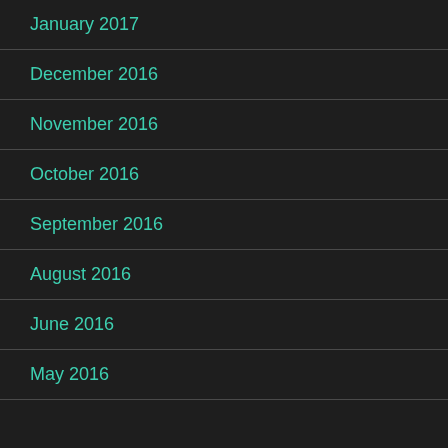January 2017
December 2016
November 2016
October 2016
September 2016
August 2016
June 2016
May 2016